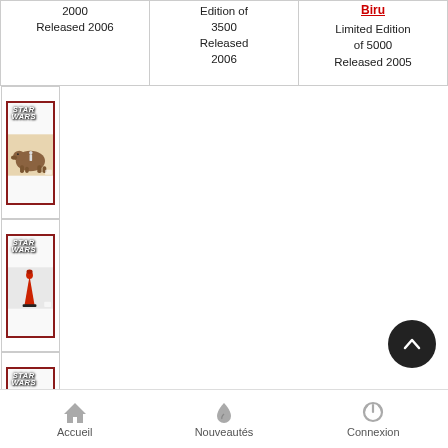| Col1 | Col2 | Col3 |
| --- | --- | --- |
| 2000
Released 2006 | Edition of 3500
Released 2006 | Biru
Limited Edition of 5000
Released 2005 |
| [Sandtrooper and Dewback figurine image] | [Senate guard figurine image] | [Bib fortuna figurine image] |
| Sandtrooper and Dewback
Limited Edition of 1500
Released 2004 | Senate guard
Limited edition: 1500
Released 2007 | Bib fortuna
Limited edition: 2500
Released 20... |
Accueil   Nouveautés   Connexion